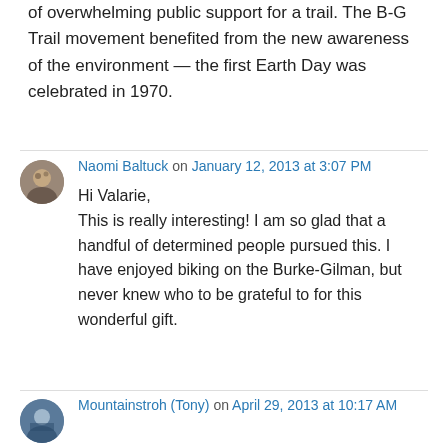of overwhelming public support for a trail. The B-G Trail movement benefited from the new awareness of the environment — the first Earth Day was celebrated in 1970.
Naomi Baltuck on January 12, 2013 at 3:07 PM
Hi Valarie,
This is really interesting! I am so glad that a handful of determined people pursued this. I have enjoyed biking on the Burke-Gilman, but never knew who to be grateful to for this wonderful gift.
Mountainstroh (Tony) on April 29, 2013 at 10:17 AM